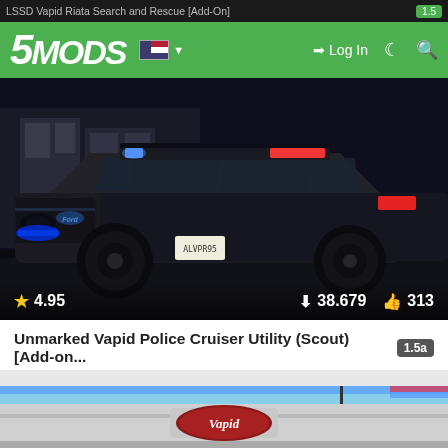LSSD Vapid Riata Search and Rescue [Add-On]  1.5
5MODS  Log In
[Figure (screenshot): Dark-colored unmarked Vapid Police Cruiser Utility SUV with blue and red emergency lights active, viewed from front-left angle. Stats overlay shows: star 4.95, download 38.679, like 313.]
Unmarked Vapid Police Cruiser Utility (Scout) [Add-on...  1.5a
By bravo-one-charlie
[Figure (screenshot): Rear view of a white Vapid vehicle showing the Vapid logo badge and trunk area, with red and blue lights visible at the top.]